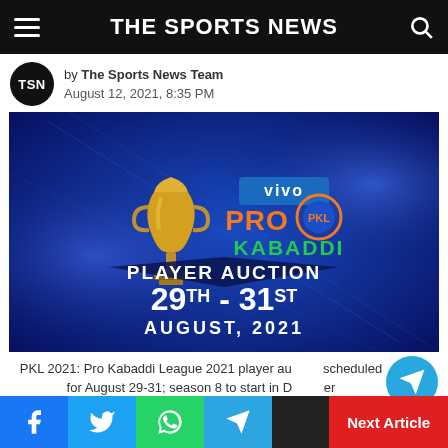THE SPORTS NEWS
by The Sports News Team
August 12, 2021, 8:35 PM
[Figure (photo): Vivo Pro Kabaddi Player Auction promotional graphic showing the trophy, logo, and dates 29th-31st August 2021 on a blue background]
PKL 2021: Pro Kabaddi League 2021 player auction scheduled for August 29-31; season 8 to start in December